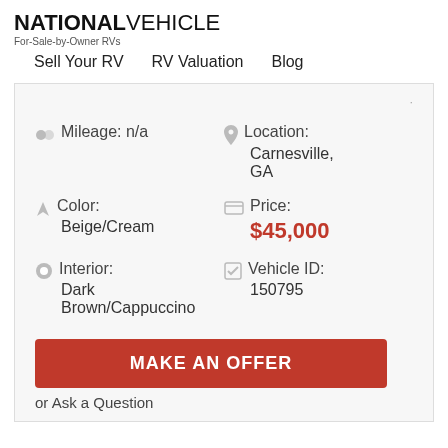NATIONAL VEHICLE - For-Sale-by-Owner RVs
Sell Your RV   RV Valuation   Blog
Mileage: n/a
Location: Carnesville, GA
Color: Beige/Cream
Price: $45,000
Interior: Dark Brown/Cappuccino
Vehicle ID: 150795
MAKE AN OFFER
or Ask a Question